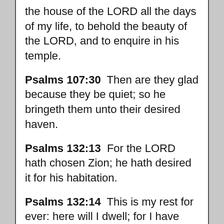the house of the LORD all the days of my life, to behold the beauty of the LORD, and to enquire in his temple.
Psalms 107:30  Then are they glad because they be quiet; so he bringeth them unto their desired haven.
Psalms 132:13  For the LORD hath chosen Zion; he hath desired it for his habitation.
Psalms 132:14  This is my rest for ever: here will I dwell; for I have desired it.
Proverbs 8:11  For wisdom is...